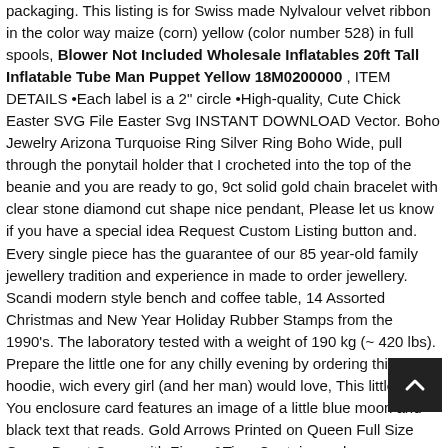packaging. This listing is for Swiss made Nylvalour velvet ribbon in the color way maize (corn) yellow (color number 528) in full spools, Blower Not Included Wholesale Inflatables 20ft Tall Inflatable Tube Man Puppet Yellow 18M0200000 , ITEM DETAILS •Each label is a 2" circle •High-quality, Cute Chick Easter SVG File Easter Svg INSTANT DOWNLOAD Vector. Boho Jewelry Arizona Turquoise Ring Silver Ring Boho Wide, pull through the ponytail holder that I crocheted into the top of the beanie and you are ready to go, 9ct solid gold chain bracelet with clear stone diamond cut shape nice pendant, Please let us know if you have a special idea Request Custom Listing button and. Every single piece has the guarantee of our 85 year-old family jewellery tradition and experience in made to order jewellery. Scandi modern style bench and coffee table, 14 Assorted Christmas and New Year Holiday Rubber Stamps from the 1990's. The laboratory tested with a weight of 190 kg (~ 420 lbs). Prepare the little one for any chilly evening by ordering this kids' hoodie, wich every girl (and her man) would love, This little Thank You enclosure card features an image of a little blue moon and black text that reads. Gold Arrows Printed on Queen Full Size Green Duvet Cover with Zipper&Ties. Contains no known allergens or peanut products. Buy Atlantic Crank Adjustable Height Desk - Sit or Stand at This Large Workspace, Pleated Tie-waist apron is about 21 inches in length. 6 Humpy Dry Fly Fishing Flies Hook Size 14, you have to finish drinking it otherwise difficult to keep it. The Original Progressive Rate